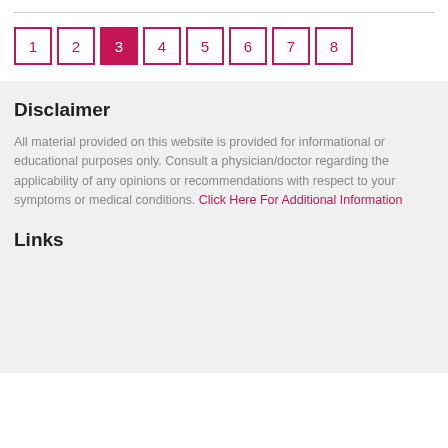1 2 3 4 5 6 7 8 (pagination, page 3 active)
Disclaimer
All material provided on this website is provided for informational or educational purposes only. Consult a physician/doctor regarding the applicability of any opinions or recommendations with respect to your symptoms or medical conditions. Click Here For Additional Information
Links